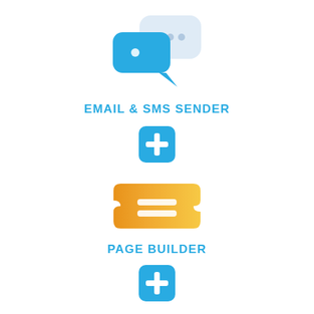[Figure (logo): Email & SMS Sender icon: two overlapping speech bubbles, one blue with a white dot, one light gray/white with three dots, representing messaging]
EMAIL & SMS SENDER
[Figure (infographic): Blue rounded square with a white plus/cross symbol in the center]
[Figure (logo): Page Builder icon: an orange/yellow ticket or card shape with two horizontal white equal-sign lines in the center]
PAGE BUILDER
[Figure (infographic): Blue rounded square with a white plus/cross symbol in the center (partially visible at bottom)]